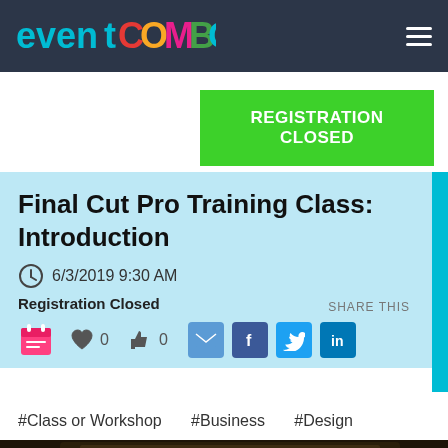EventCombo
REGISTRATION CLOSED
Final Cut Pro Training Class: Introduction
6/3/2019 9:30 AM
Registration Closed
SHARE THIS
#Class or Workshop
#Business
#Design
[Figure (photo): Dark photo showing computer monitor setup, likely a video editing workstation with screens displaying content.]